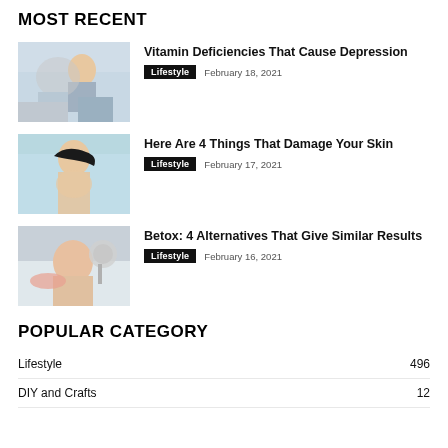MOST RECENT
[Figure (photo): Woman sitting on couch looking sad, lifestyle photo]
Vitamin Deficiencies That Cause Depression
Lifestyle  February 18, 2021
[Figure (photo): Woman touching face and smiling, skincare lifestyle photo]
Here Are 4 Things That Damage Your Skin
Lifestyle  February 17, 2021
[Figure (photo): Woman receiving facial treatment, beauty/wellness photo]
Betox: 4 Alternatives That Give Similar Results
Lifestyle  February 16, 2021
POPULAR CATEGORY
Lifestyle  496
DIY and Crafts  12